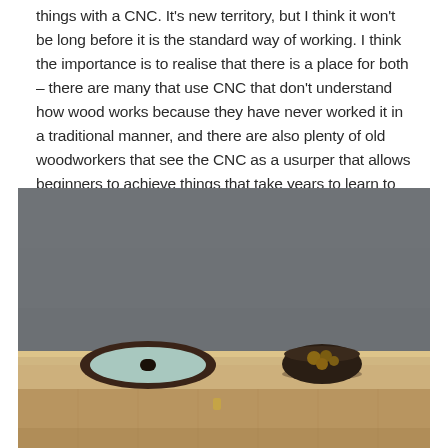things with a CNC. It's new territory, but I think it won't be long before it is the standard way of working. I think the importance is to realise that there is a place for both – there are many that use CNC that don't understand how wood works because they have never worked it in a traditional manner, and there are also plenty of old woodworkers that see the CNC as a usurper that allows beginners to achieve things that take years to learn to do by hand.
[Figure (photo): A wooden sideboard or console table photographed against a dark grey wall. On the table surface sits an oval dark wood tray with a mint/teal colored inset and a thin slot, and a dark round bowl containing what appear to be walnuts or similar nuts. The table has a warm honey-oak wood tone.]